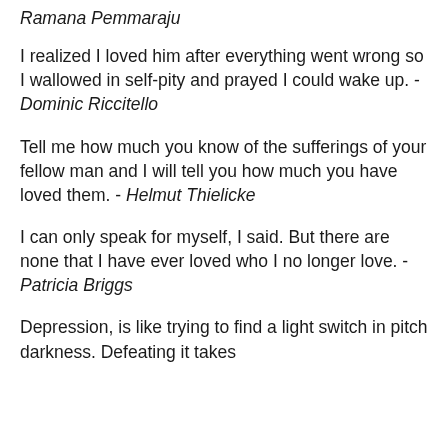Ramana Pemmaraju
I realized I loved him after everything went wrong so I wallowed in self-pity and prayed I could wake up. - Dominic Riccitello
Tell me how much you know of the sufferings of your fellow man and I will tell you how much you have loved them. - Helmut Thielicke
I can only speak for myself, I said. But there are none that I have ever loved who I no longer love. - Patricia Briggs
Depression, is like trying to find a light switch in pitch darkness. Defeating it takes...